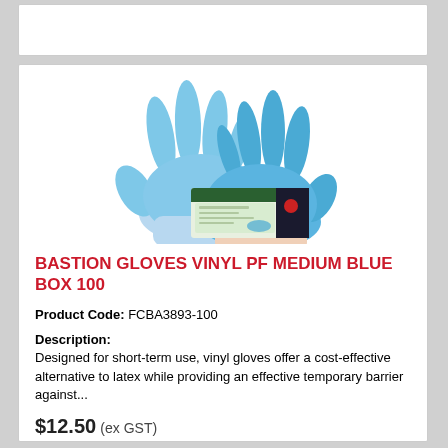[Figure (photo): Blue vinyl gloves being worn by hands, with a product box of Bastion blue vinyl gloves shown in the foreground.]
BASTION GLOVES VINYL PF MEDIUM BLUE BOX 100
Product Code: FCBA3893-100
Description:
Designed for short-term use, vinyl gloves offer a cost-effective alternative to latex while providing an effective temporary barrier against...
$12.50 (ex GST)